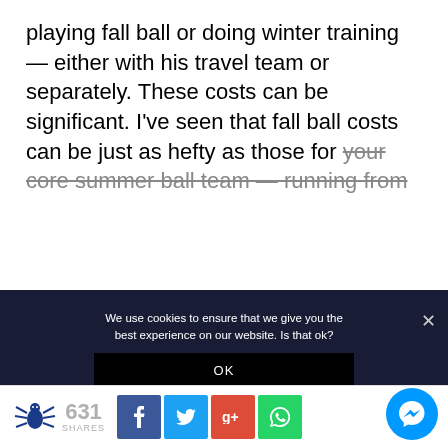playing fall ball or doing winter training — either with his travel team or separately. These costs can be significant. I've seen that fall ball costs can be just as hefty as those for your core summer ball team — running from
We use cookies to ensure that we give you the best experience on our website. Is that ok?
OK
NO
PRIVACY
631 SHARES
[Figure (screenshot): Social share buttons: Facebook (blue), Twitter (cyan), Google+ (red), WhatsApp (green), and a Messenger chat button (blue circle) at bottom right. Spider/scorpion logo on the left.]